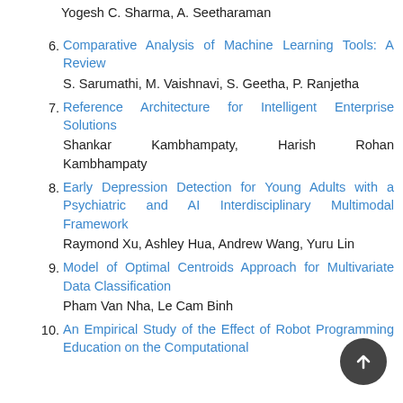Yogesh C. Sharma, A. Seetharaman
6. Comparative Analysis of Machine Learning Tools: A Review
S. Sarumathi, M. Vaishnavi, S. Geetha, P. Ranjetha
7. Reference Architecture for Intelligent Enterprise Solutions
Shankar Kambhampaty, Harish Rohan Kambhampaty
8. Early Depression Detection for Young Adults with a Psychiatric and AI Interdisciplinary Multimodal Framework
Raymond Xu, Ashley Hua, Andrew Wang, Yuru Lin
9. Model of Optimal Centroids Approach for Multivariate Data Classification
Pham Van Nha, Le Cam Binh
10. An Empirical Study of the Effect of Robot Programming Education on the Computational